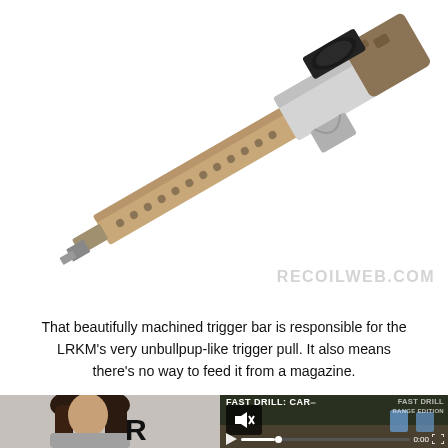[Figure (photo): Close-up photo of a rifle trigger bar and barrel assembly with tan/FDE handguard with holes, stainless/silver receiver, and camo stock pattern, photographed diagonally against white background. RECOILWEB.COM watermark in gray at bottom right.]
That beautifully machined trigger bar is responsible for the LRKM's very unbullpup-like trigger pull. It also means there's no way to feed it from a magazine.
[Figure (screenshot): Bottom section showing: left side - partial photo of a woman with dark hair in gray shirt; center - large bold letter R visible; right side - video player showing 'FAST DRILL: CAR' title over outdoor shooting range footage, with mute icon overlay, play button, progress bar, 0:00 timestamp, and fullscreen button. A close button (x) appears at top right.]